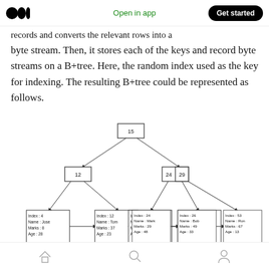Open in app | Get started
records and converts the relevant rows into a byte stream. Then, it stores each of the keys and record byte streams on a B+tree. Here, the random index used as the key for indexing. The resulting B+tree could be represented as follows.
[Figure (other): B+tree diagram on database pages showing root node 15, internal nodes 12 and [24|29], and leaf nodes with records: Index:4 Name:Jose Marks:8 Age:28; Index:12 Name:Tom Marks:37 Age:23; Index:15 Name:Alex Marks:32 Age:43; Index:24 Name:Mark Marks:29 Age:48; Index:26 Name:Bob Marks:49 Age:33; Index:53 Name:Ron Marks:67 Age:13]
B+tree on database pages
Home | Search | Profile